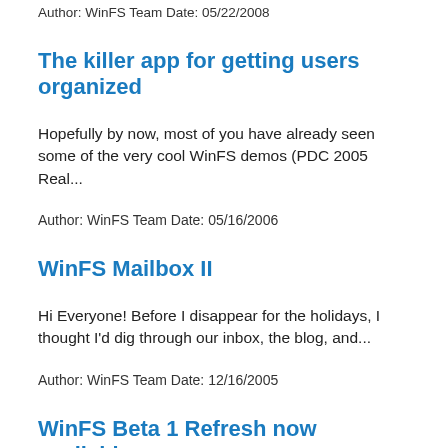Author: WinFS Team Date: 05/22/2008
The killer app for getting users organized
Hopefully by now, most of you have already seen some of the very cool WinFS demos (PDC 2005 Real...
Author: WinFS Team Date: 05/16/2006
WinFS Mailbox II
Hi Everyone! Before I disappear for the holidays, I thought I'd dig through our inbox, the blog, and...
Author: WinFS Team Date: 12/16/2005
WinFS Beta 1 Refresh now available
MSDN subscribers can now download our Beta 1 Refresh